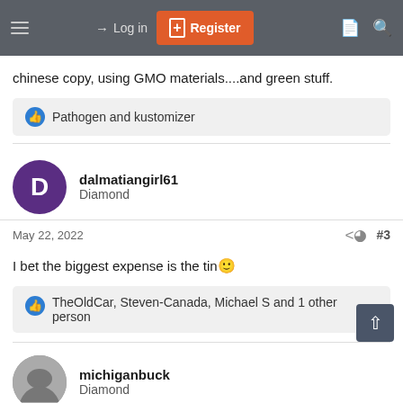Log in | Register
chinese copy, using GMO materials....and green stuff.
Pathogen and kustomizer
dalmatiangirl61
Diamond
May 22, 2022  #3
I bet the biggest expense is the tin😊
TheOldCar, Steven-Canada, Michael S and 1 other person
michiganbuck
Diamond